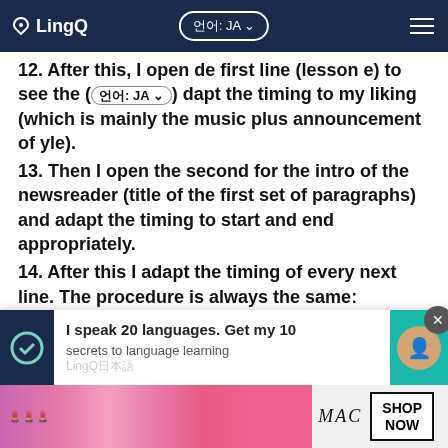LingQ — 언어: JA
12. After this, I open the first line (lesson) to see the ... and adapt the timing to my liking (which is mainly the music plus announcement of yle).
13. Then I open the second for the intro of the newsreader (title of the first set of paragraphs) and adapt the timing to start and end appropriately.
14. After this I adapt the timing of every next line. The procedure is always the same:
14.1 copy end time of previous line
14.2 truncate the end time to a whole number
14.3 listen to the result
14.4 ...
I speak 20 languages. Get my 10 secrets to language learning
[Figure (advertisement): MAC cosmetics advertisement showing lipsticks with SHOP NOW button]